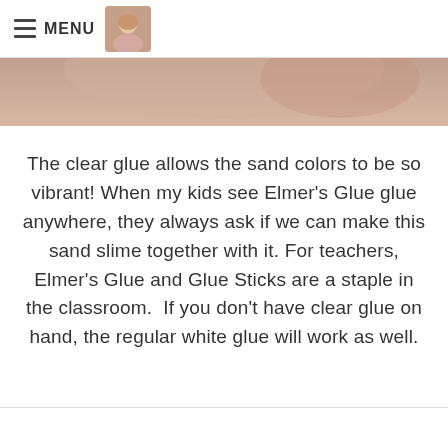MENU
[Figure (photo): Partial photo of a person, likely a child or adult, cropped at the top of the page below the navigation bar.]
The clear glue allows the sand colors to be so vibrant! When my kids see Elmer’s Glue glue anywhere, they always ask if we can make this sand slime together with it. For teachers, Elmer’s Glue and Glue Sticks are a staple in the classroom.  If you don’t have clear glue on hand, the regular white glue will work as well.